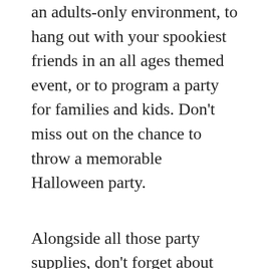an adults-only environment, to hang out with your spookiest friends in an all ages themed event, or to program a party for families and kids. Don't miss out on the chance to throw a memorable Halloween party.
Alongside all those party supplies, don't forget about your Halloween costume. Unlike other holidays, Halloween comes with a unique culture of costuming that we absolutely love. Whether you're setting out to go trick or treating, are giving out candy all Halloween night, or want to impress friends at your big Halloween party, there's plenty of treats out there for you. Choose from everything from bloody zombie nurses to gothic vampires, clowns, hot dogs, and everything in between.